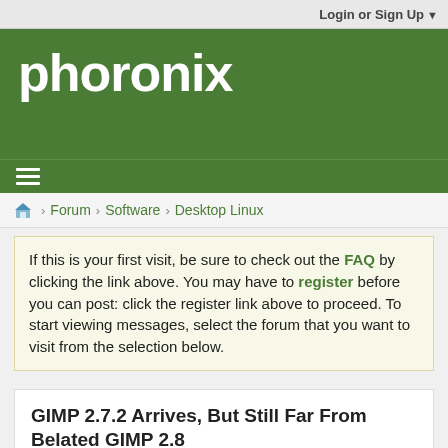Login or Sign Up
phoronix
≡
Forum > Software > Desktop Linux
If this is your first visit, be sure to check out the FAQ by clicking the link above. You may have to register before you can post: click the register link above to proceed. To start viewing messages, select the forum that you want to visit from the selection below.
GIMP 2.7.2 Arrives, But Still Far From Belated GIMP 2.8